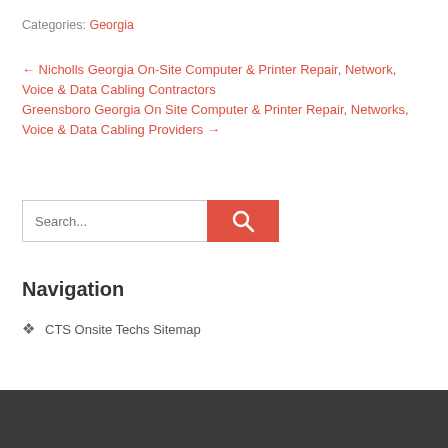Categories: Georgia
← Nicholls Georgia On-Site Computer & Printer Repair, Network, Voice & Data Cabling Contractors
Greensboro Georgia On Site Computer & Printer Repair, Networks, Voice & Data Cabling Providers →
[Figure (other): Search input box with red search button containing magnifying glass icon]
Navigation
❖  CTS Onsite Techs Sitemap